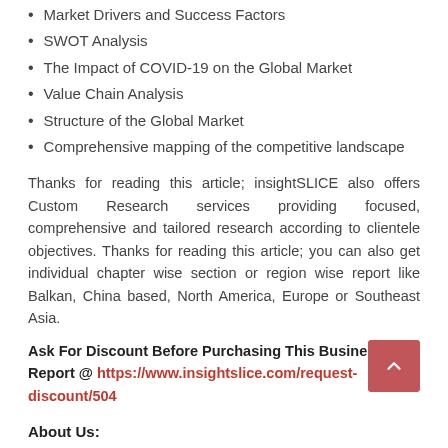Market Drivers and Success Factors
SWOT Analysis
The Impact of COVID-19 on the Global Market
Value Chain Analysis
Structure of the Global Market
Comprehensive mapping of the competitive landscape
Thanks for reading this article; insightSLICE also offers Custom Research services providing focused, comprehensive and tailored research according to clientele objectives. Thanks for reading this article; you can also get individual chapter wise section or region wise report like Balkan, China based, North America, Europe or Southeast Asia.
Ask For Discount Before Purchasing This Business Report @ https://www.insightslice.com/request-discount/504
About Us:
We are a team of research analysts and management